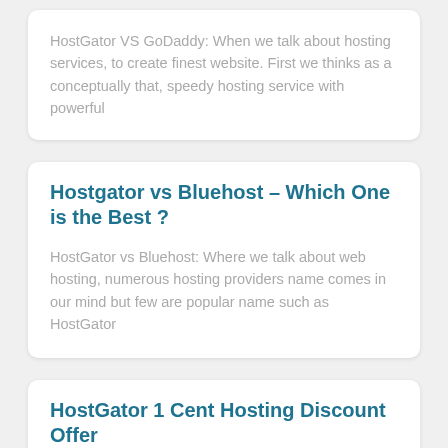HostGator VS GoDaddy: When we talk about hosting services, to create finest website. First we thinks as a conceptually that, speedy hosting service with powerful
Hostgator vs Bluehost – Which One is the Best ?
HostGator vs Bluehost: Where we talk about web hosting, numerous hosting providers name comes in our mind but few are popular name such as HostGator
HostGator 1 Cent Hosting Discount Offer